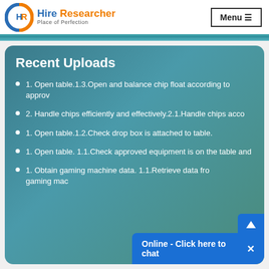[Figure (logo): Hire Researcher logo with circular HR emblem in blue and orange, tagline 'Place of Perfection']
Recent Uploads
1. Open table.1.3.Open and balance chip float according to approv
2. Handle chips efficiently and effectively.2.1.Handle chips acco
1. Open table.1.2.Check drop box is attached to table.
1. Open table. 1.1.Check approved equipment is on the table and
1. Obtain gaming machine data. 1.1.Retrieve data from gaming mac
Online - Click here to chat